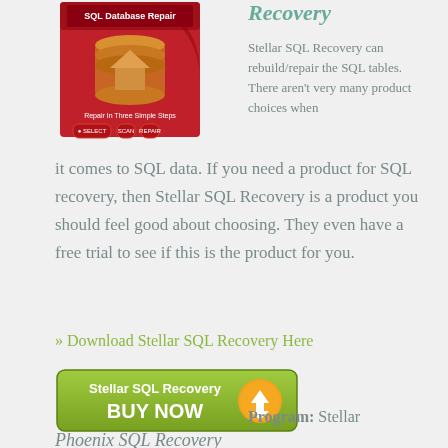[Figure (photo): Box art for Stellar SQL Database Repair software product on red background]
Recovery
Stellar SQL Recovery can rebuild/repair the SQL tables. There aren't very many product choices when it comes to SQL data. If you need a product for SQL recovery, then Stellar SQL Recovery is a product you should feel good about choosing. They even have a free trial to see if this is the product for you.
» Download Stellar SQL Recovery Here
[Figure (screenshot): Green buy now button with Stellar SQL Recovery text and download icon]
Program: Stellar
Phoenix SQL Recovery